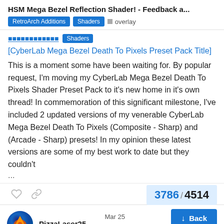HSM Mega Bezel Reflection Shader! - Feedback a...
RetroArch Additions  Shaders  overlay
Preset Pack  Shaders
[CyberLab Mega Bezel Death To Pixels Preset Pack Title]
This is a moment some have been waiting for. By popular request, I'm moving my CyberLab Mega Bezel Death To Pixels Shader Preset Pack to it's new home in it's own thread! In commemoration of this significant milestone, I've included 2 updated versions of my venerable CyberLab Mega Bezel Death To Pixels (Composite - Sharp) and (Arcade - Sharp) presets! In my opinion these latest versions are some of my best work to date but they couldn't ...
PizzaLaser25
Mar 25
Back
3786 / 4514